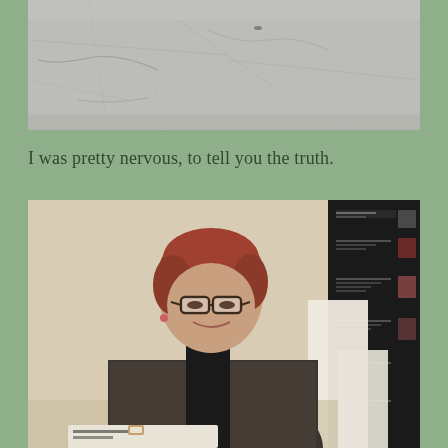[Figure (photo): Top portion of a photo showing a concrete or stone floor/ground surface with cracks and marks, gray tones.]
I was pretty nervous, to tell you the truth.
[Figure (photo): A woman with short red hair and glasses, wearing a dark blazer over a black top, smiling in what appears to be a gallery or exhibition space. She is holding or resting her hand on something with text visible at the bottom. Behind her is a black panel with listings/images on the right side.]